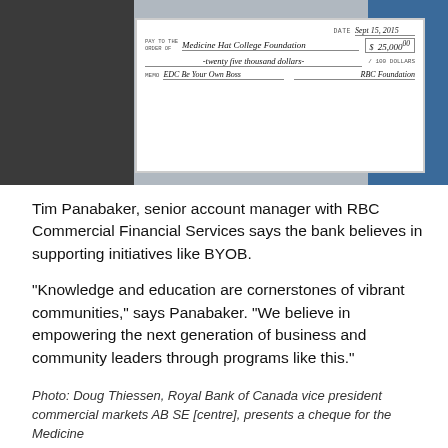[Figure (photo): Two people holding a large ceremonial cheque made out to Medicine Hat College Foundation for $25,000.00, dated Sept 15, 2015, memo: EDC Be Your Own Boss, signed RBC Foundation]
Tim Panabaker, senior account manager with RBC Commercial Financial Services says the bank believes in supporting initiatives like BYOB.
“Knowledge and education are cornerstones of vibrant communities,” says Panabaker. “We believe in empowering the next generation of business and community leaders through programs like this.”
Photo: Doug Thiessen, Royal Bank of Canada vice president commercial markets AB SE [centre], presents a cheque for the Medicine